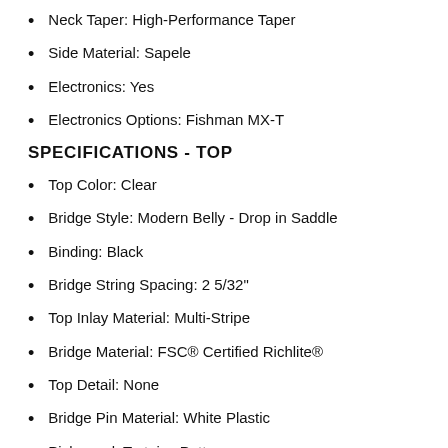Neck Taper: High-Performance Taper
Side Material: Sapele
Electronics: Yes
Electronics Options: Fishman MX-T
SPECIFICATIONS - TOP
Top Color: Clear
Bridge Style: Modern Belly - Drop in Saddle
Binding: Black
Bridge String Spacing: 2 5/32"
Top Inlay Material: Multi-Stripe
Bridge Material: FSC® Certified Richlite®
Top Detail: None
Bridge Pin Material: White Plastic
Pickguard: Tortoise Pattern